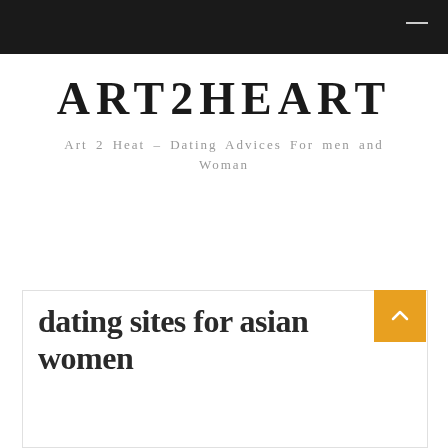ART2HEART
Art 2 Heat – Dating Advices For men and Woman
dating sites for asian women